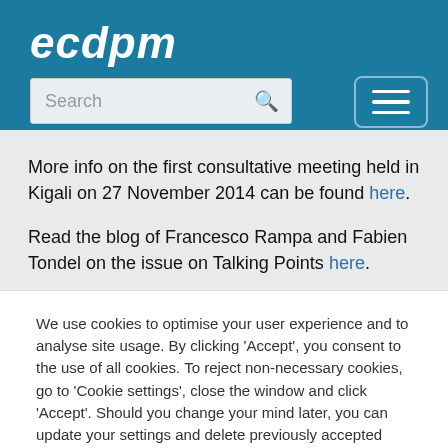ecdpm
More info on the first consultative meeting held in Kigali on 27 November 2014 can be found here.
Read the blog of Francesco Rampa and Fabien Tondel on the issue on Talking Points here.
We use cookies to optimise your user experience and to analyse site usage. By clicking 'Accept', you consent to the use of all cookies. To reject non-necessary cookies, go to 'Cookie settings', close the window and click 'Accept'. Should you change your mind later, you can update your settings and delete previously accepted cookies via your browser.